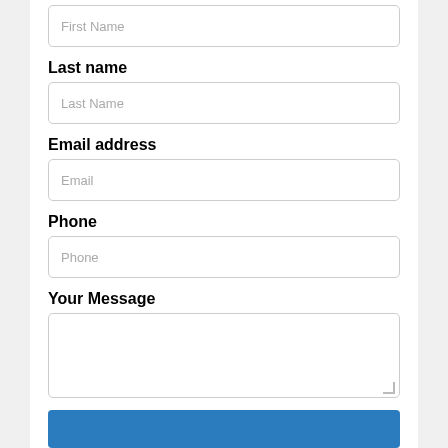First Name (placeholder)
Last name
Last Name (placeholder)
Email address
Email (placeholder)
Phone
Phone (placeholder)
Your Message
[Figure (other): Submit button (blue rectangle) at bottom of contact form]